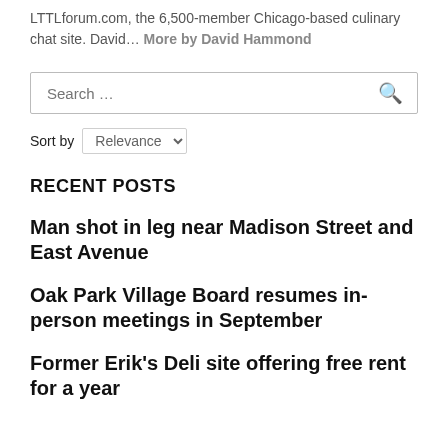LTTLforum.com, the 6,500-member Chicago-based culinary chat site. David… More by David Hammond
Search …
Sort by Relevance
RECENT POSTS
Man shot in leg near Madison Street and East Avenue
Oak Park Village Board resumes in-person meetings in September
Former Erik's Deli site offering free rent for a year